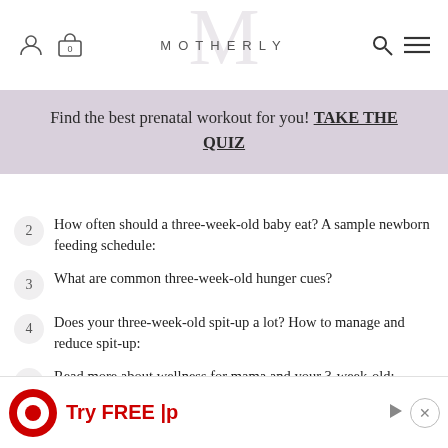MOTHERLY
Find the best prenatal workout for you! TAKE THE QUIZ
2  How often should a three-week-old baby eat? A sample newborn feeding schedule:
3  What are common three-week-old hunger cues?
4  Does your three-week-old spit-up a lot? How to manage and reduce spit-up:
5  Read more about wellness for mama and your 3-week-old:
Three weeks in and we bet you can already feed your baby d...p
[Figure (screenshot): Target advertisement banner: red Target bullseye logo, 'Try FREE |p' text in red bold]